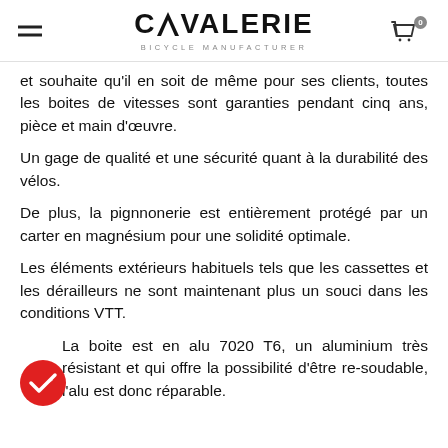CAVALERIE - BICYCLE MANUFACTURER
et souhaite qu'il en soit de même pour ses clients, toutes les boites de vitesses sont garanties pendant cinq ans, pièce et main d'œuvre.
Un gage de qualité et une sécurité quant à la durabilité des vélos.
De plus, la pignnonerie est entièrement protégé par un carter en magnésium pour une solidité optimale.
Les éléments extérieurs habituels tels que les cassettes et les dérailleurs ne sont maintenant plus un souci dans les conditions VTT.
La boite est en alu 7020 T6, un aluminium très résistant et qui offre la possibilité d'être re-soudable, l'alu est donc réparable.